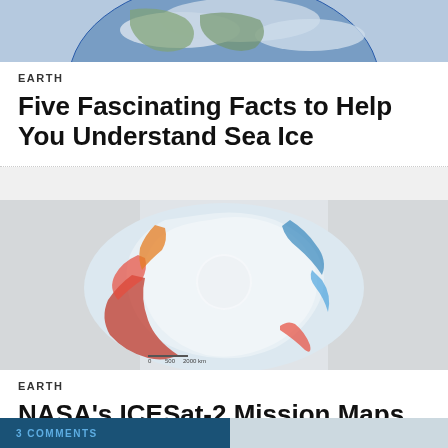[Figure (photo): Partial view of Earth from space showing North America with cloud cover, cropped at top]
EARTH
Five Fascinating Facts to Help You Understand Sea Ice
[Figure (photo): False-color satellite map of Antarctica showing ice sheet elevation changes in red and blue tones with white center]
EARTH
NASA's ICESat-2 Mission Maps 16 Years of Melting Greenland and Antarctic Ice Sheets
3 COMMENTS